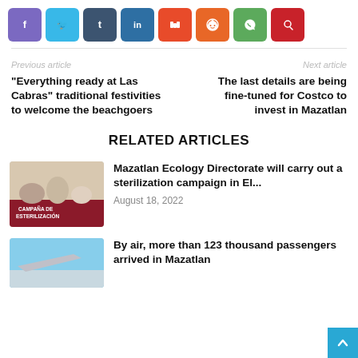[Figure (other): Row of social media share buttons: Facebook (purple), Twitter (light blue), Tumblr (dark blue), LinkedIn (dark blue), Mix (red-orange), Reddit (orange), WhatsApp (green), Pinterest (red)]
Previous article
Next article
“Everything ready at Las Cabras” traditional festivities to welcome the beachgoers
The last details are being fine-tuned for Costco to invest in Mazatlan
RELATED ARTICLES
[Figure (photo): Photo showing dogs and cats with a red banner reading CAMPAÑA DE ESTERILIZACIÓN]
Mazatlan Ecology Directorate will carry out a sterilization campaign in El...
August 18, 2022
[Figure (photo): Partial photo showing blue sky and what appears to be an airplane or airport scene]
By air, more than 123 thousand passengers arrived in Mazatlan